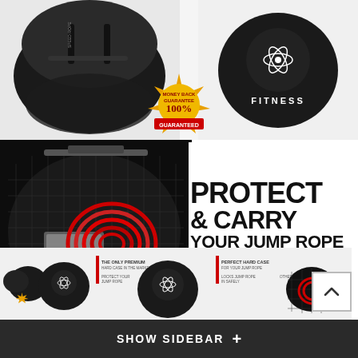[Figure (photo): Two black circular hard cases for jump rope - one open showing the rope inside, one closed with a fitness logo on top. Also shows a money back guarantee gold badge in the center.]
[Figure (photo): Close-up of a mesh bag with a red jump rope coiled inside, on a dark background.]
PROTECT & CARRY YOUR JUMP ROPE IN STYLE
[Figure (photo): Thumbnail row showing product images and infographic labels: THE ONLY PREMIUM HARD CASE IN THE MARKET, PROTECT YOUR JUMP ROPE, PERFECT HARD CASE FOR YOUR JUMP ROPE, LOCKS JUMP ROPE IN SAFELY, OTHER CASES]
SHOW SIDEBAR +